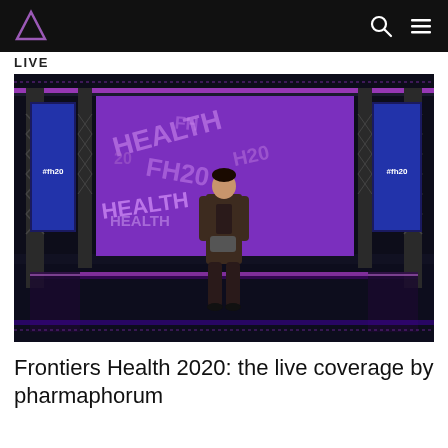LIVE
[Figure (photo): A presenter standing on a dark stage in front of a large purple LED screen displaying '#fh20 HEALTH' text pattern, with two side screens also showing '#fh20'. Stage has metal truss rigging and LED lighting strips along the floor and ceiling.]
Frontiers Health 2020: the live coverage by pharmaphorum